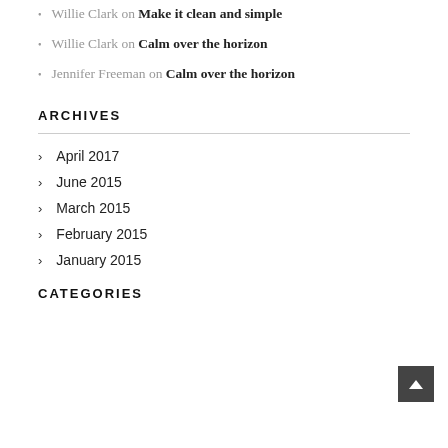Willie Clark on Make it clean and simple
Willie Clark on Calm over the horizon
Jennifer Freeman on Calm over the horizon
ARCHIVES
April 2017
June 2015
March 2015
February 2015
January 2015
CATEGORIES